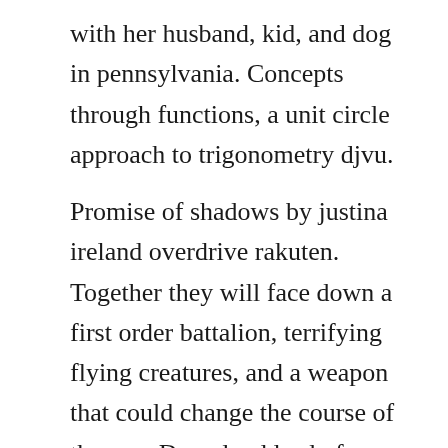with her husband, kid, and dog in pennsylvania. Concepts through functions, a unit circle approach to trigonometry djvu.
Promise of shadows by justina ireland overdrive rakuten. Together they will face down a first order battalion, terrifying flying creatures, and a weapon that could change the course of the war. Download lord of shadows the dark artifices free pdf epub. Justina ireland best books promise of shadows the promise of shadows is a fantasy novel, which has elements of greek mythology spread